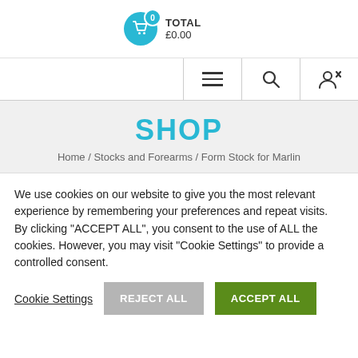[Figure (other): Shopping cart icon with 0 badge, TOTAL label and £0.00 amount]
[Figure (other): Navigation bar with hamburger menu, search icon, and user/close icon]
SHOP
Home / Stocks and Forearms / Form Stock for Marlin
We use cookies on our website to give you the most relevant experience by remembering your preferences and repeat visits. By clicking "ACCEPT ALL", you consent to the use of ALL the cookies. However, you may visit "Cookie Settings" to provide a controlled consent.
Cookie Settings    REJECT ALL    ACCEPT ALL